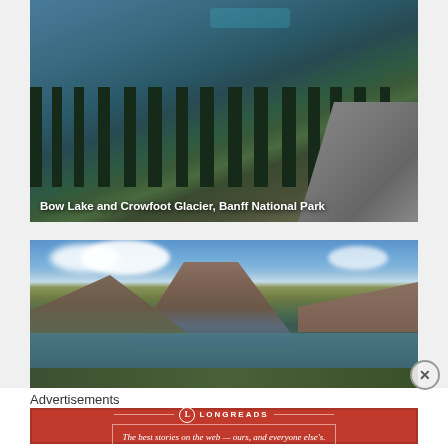[Figure (photo): Aerial/mountain view showing Bow Lake and Crowfoot Glacier in Banff National Park with conifer forest and turquoise lake in background]
Bow Lake and Crowfoot Glacier, Banff National Park
[Figure (photo): Mountain alpine lake scene with dramatic rocky peak, partial snow cover, blue sky with white clouds, and green valley with still water reflecting the mountains]
Advertisements
[Figure (logo): Longreads advertisement banner in red with logo and tagline: The best stories on the web — ours, and everyone else's.]